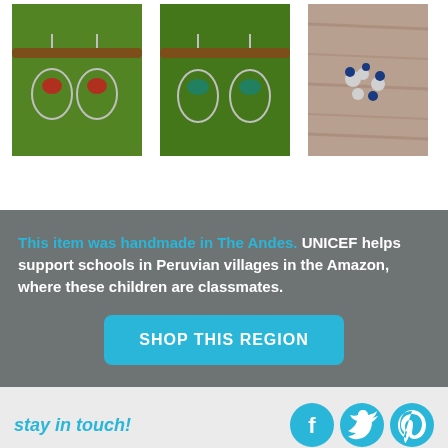[Figure (photo): Three product photos of handmade silver earrings: first pair with red stones, second pair with green stones, third pair of small blue flower studs, all displayed hanging on a rod or on a wooden surface]
This item was handmade in The Andes. UNICEF helps support schools in Peruvian villages in the Amazon, where these children are classmates.
SHOP THIS REGION
stay in touch!
[Figure (logo): Facebook, Twitter, and Pinterest social media icons in cyan/blue circles]
Keep up to date with the latest UNICEF Market news